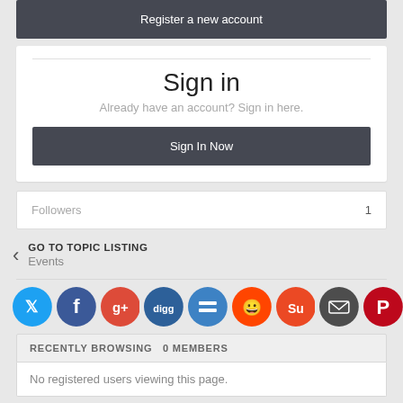Register a new account
Sign in
Already have an account? Sign in here.
Sign In Now
Followers  1
GO TO TOPIC LISTING
Events
[Figure (infographic): Row of social media sharing icons: Twitter (blue), Facebook (blue), Google+ (red/orange), Digg (blue), Delicious (blue), Reddit (orange), StumbleUpon (orange), Email (dark gray), Pinterest (red)]
RECENTLY BROWSING   0 MEMBERS
No registered users viewing this page.